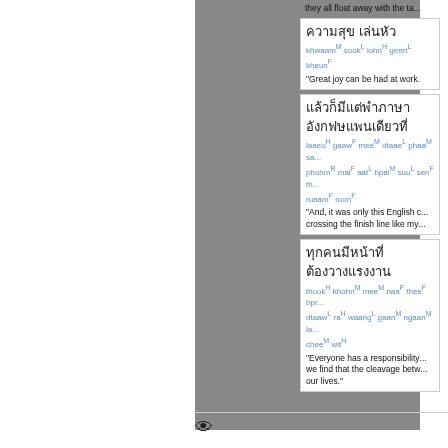they all float away with the ta...
Thai script block 1 | khwaamM sookL lohnH geertL kheunF | "Great joy can be had at work."
Thai script block 2 | laaeoH gaawF meeM dtaaeL phaaM sa... phohm R maiF aatL bpaiM suuL senF th... ruaamF roonF | "And, it was only this English c... crossing the finish line like my..."
Thai script block 3 | thookH khohnM meeM naaF theeF bpr... dtaawL raH waangL gaanM ngaanM la... cheeM witH | "Everyone has a responsibility... we find that the cleavage betw... our lives."